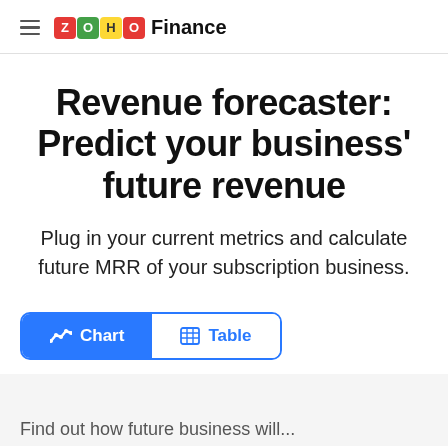ZOHO Finance
Revenue forecaster: Predict your business' future revenue
Plug in your current metrics and calculate future MRR of your subscription business.
[Figure (screenshot): Tab toggle UI with 'Chart' (active, blue) and 'Table' (inactive) buttons]
[Figure (screenshot): Bottom partial chart area showing grey background, beginning of a text line]